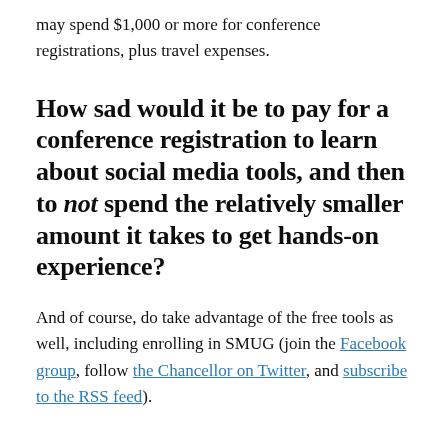may spend $1,000 or more for conference registrations, plus travel expenses.
How sad would it be to pay for a conference registration to learn about social media tools, and then to not spend the relatively smaller amount it takes to get hands-on experience?
And of course, do take advantage of the free tools as well, including enrolling in SMUG (join the Facebook group, follow the Chancellor on Twitter, and subscribe to the RSS feed).